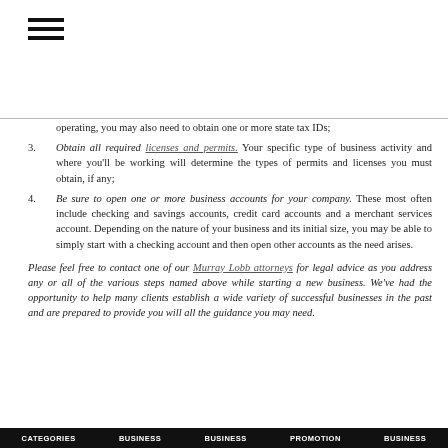[Figure (other): Hamburger menu icon (three horizontal lines)]
operating, you may also need to obtain one or more state tax IDs;
3. Obtain all required licenses and permits. Your specific type of business activity and where you'll be working will determine the types of permits and licenses you must obtain, if any;
4. Be sure to open one or more business accounts for your company. These most often include checking and savings accounts, credit card accounts and a merchant services account. Depending on the nature of your business and its initial size, you may be able to simply start with a checking account and then open other accounts as the need arises.
Please feel free to contact one of our Murray Lobb attorneys for legal advice as you address any or all of the various steps named above while starting a new business. We've had the opportunity to help many clients establish a wide variety of successful businesses in the past and are prepared to provide you will all the guidance you may need.
CATEGORIES BUSINESS   BUSINESS   PROMOTION   BUSINESS